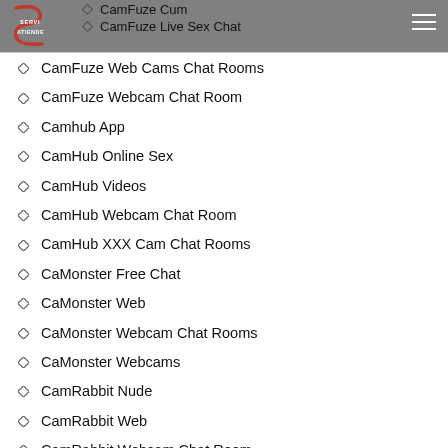ServiAtiende
CamFuze Cum
CamFuze Live Sex Chat
CamFuze Web Cams Chat Rooms
CamFuze Webcam Chat Room
Camhub App
CamHub Online Sex
CamHub Videos
CamHub Webcam Chat Room
CamHub XXX Cam Chat Rooms
CaMonster Free Chat
CaMonster Web
CaMonster Webcam Chat Rooms
CaMonster Webcams
CamRabbit Nude
CamRabbit Web
CamRabbit Webcam Chat Room
Camrabbit Webcams